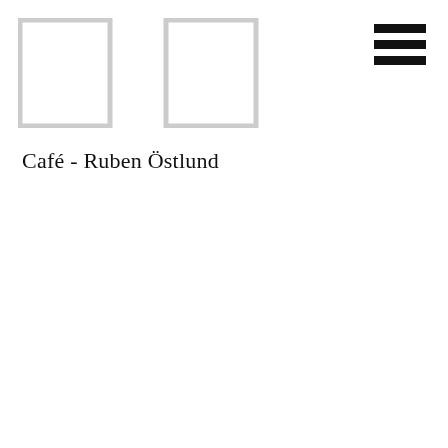[Figure (logo): Two large outlined letter L shapes side by side, forming a logo mark. Left L is at top-left, right L is in the center-top area.]
[Figure (other): Hamburger menu icon: three horizontal black bars stacked, top-right corner.]
Café - Ruben Östlund